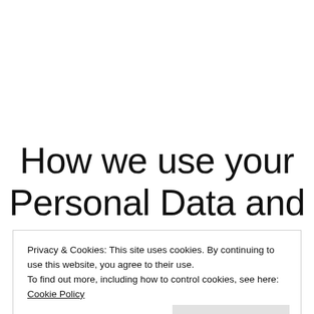How we use your Personal Data and
Privacy & Cookies: This site uses cookies. By continuing to use this website, you agree to their use.
To find out more, including how to control cookies, see here: Cookie Policy
Close and accept